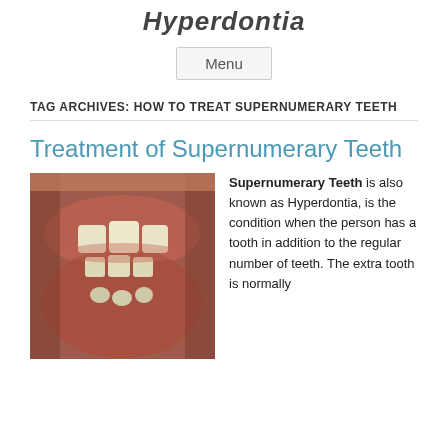Hyperdontia
Menu
TAG ARCHIVES: HOW TO TREAT SUPERNUMERARY TEETH
Treatment of Supernumerary Teeth
[Figure (photo): Close-up photograph of an open mouth showing supernumerary (extra) teeth alongside normal teeth, viewed from below.]
Supernumerary Teeth is also known as Hyperdontia, is the condition when the person has a tooth in addition to the regular number of teeth. The extra tooth is normally